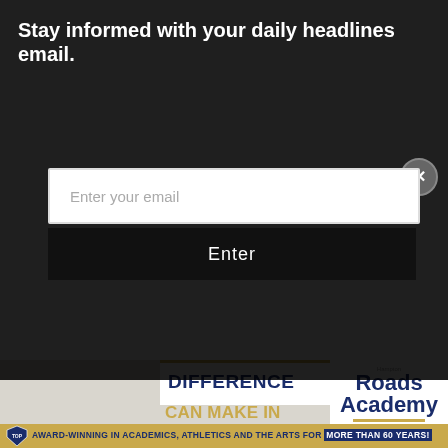Stay informed with your daily headlines email.
Enter your email
Enter
DIFFERENCE
CAN MAKE IN YOUR CHILD'S LIFE.
Hampton Roads Academy
Think • Explore • Discover
AWARD-WINNING IN ACADEMICS, ATHLETICS AND THE ARTS FOR MORE THAN 60 YEARS!
We are currently accepting applications for the 2022-23 school year. SCHEDULE A TOUR TODAY!
Visit Our Virtual Admissions Center For Grades Pre-K – 12.
OFFERING BUS SERVICE TO:
• WILLIAMSBURG
• GLOUCESTER
• SMITHFIELD
• SUFFOLK
• YORKTOWN
www.hra.org/admission